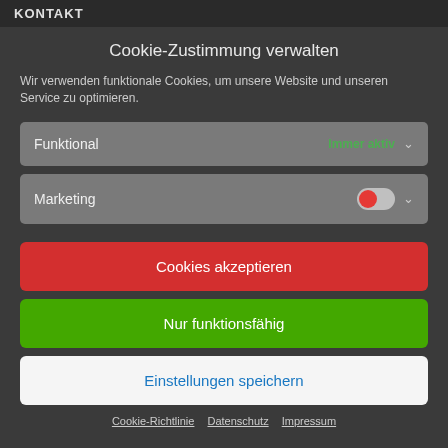KONTAKT
Cookie-Zustimmung verwalten
Wir verwenden funktionale Cookies, um unsere Website und unseren Service zu optimieren.
Funktional   Immer aktiv
Marketing
Cookies akzeptieren
Nur funktionsfähig
Einstellungen speichern
Cookie-Richtlinie   Datenschutz   Impressum